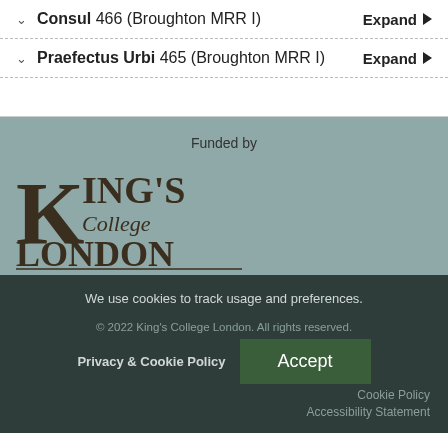Consul 466 (Broughton MRR I) — Expand
Praefectus Urbi 465 (Broughton MRR I) — Expand
Funded by
[Figure (logo): King's College London logo with serif text and decorative underline]
Classics & Digital Humanities
We use cookies to track usage and preferences.
Privacy & Cookie Policy
Accept
Cookie Policy
Accessibility Statement